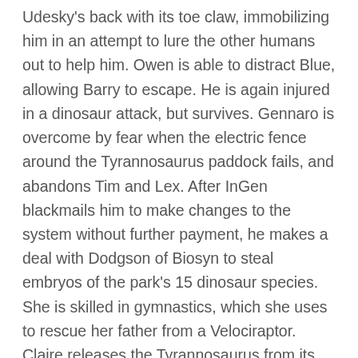Udesky's back with its toe claw, immobilizing him in an attempt to lure the other humans out to help him. Owen is able to distract Blue, allowing Barry to escape. He is again injured in a dinosaur attack, but survives. Gennaro is overcome by fear when the electric fence around the Tyrannosaurus paddock fails, and abandons Tim and Lex. After InGen blackmails him to make changes to the system without further payment, he makes a deal with Dodgson of Biosyn to steal embryos of the park's 15 dinosaur species. She is skilled in gymnastics, which she uses to rescue her father from a Velociraptor. Claire releases the Tyrannosaurus from its paddock and lures it into a fight with the Indominus. This briefly rekindles their bond, but she resumes the attack. He also appears as one of the main characters in Jurassic Park: The Game, a 2011 film-inspired video game in which he has a daughter named Jess. These characters appear in the Netflix series, known as World Camp Cretaceous (2020). Ellie...